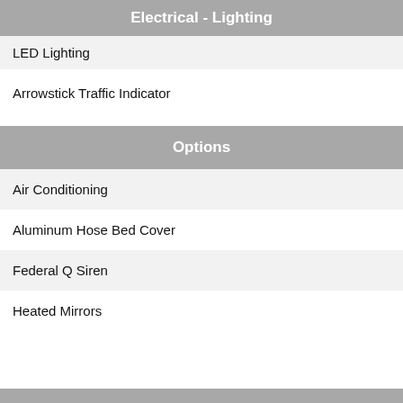Electrical - Lighting
LED Lighting
Arrowstick Traffic Indicator
Options
Air Conditioning
Aluminum Hose Bed Cover
Federal Q Siren
Heated Mirrors